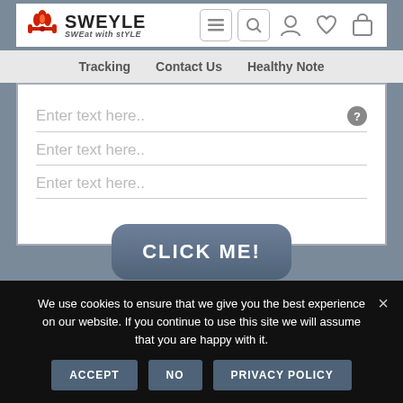[Figure (logo): Sweyle logo with flame/dumbbell icon in red, text SWEYLE in bold dark, subtitle SWEat with stYLE]
Tracking   Contact Us   Healthy Note
Enter text here..
Enter text here..
Enter text here..
CLICK ME!
We use cookies to ensure that we give you the best experience on our website. If you continue to use this site we will assume that you are happy with it.
ACCEPT   NO   PRIVACY POLICY